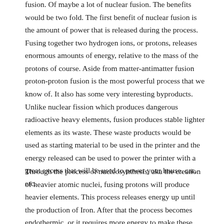fusion.  Of maybe a lot of nuclear fusion.  The benefits would be two fold.  The first benefit of nuclear fusion is the amount of power that is released during the process.  Fusing together two hydrogen ions, or protons, releases enormous amounts of energy, relative to the mass of the protons of course.  Aside from matter-antimatter fusion proton-proton fusion is the most powerful process that we know of.  It also has some very interesting byproducts.  Unlike nuclear fission which produces dangerous radioactive heavy elements, fusion produces stable lighter elements as its waste.  These waste products would be used as starting material to be used in the printer and the energy released can be used to power the printer with a great excess that will be used to power your house, car, etc.
Through the process of nucleosynthesis, aka the creation of heavier atomic nuclei, fusing protons will produce heavier elements.  This process releases energy up until the production of Iron.  After that the process becomes endothermic, or it requires more energy to make these things than is released.  The basic concept is that you would take two...